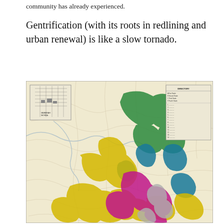community has already experienced.
Gentrification (with its roots in redlining and urban renewal) is like a slow tornado.
[Figure (map): Historical redlining map showing color-coded neighborhood zones (green, blue, yellow/gold, magenta/pink, and gray) overlaid on a city street map with a directory table in the upper right corner and a small inset street map in the upper left corner.]